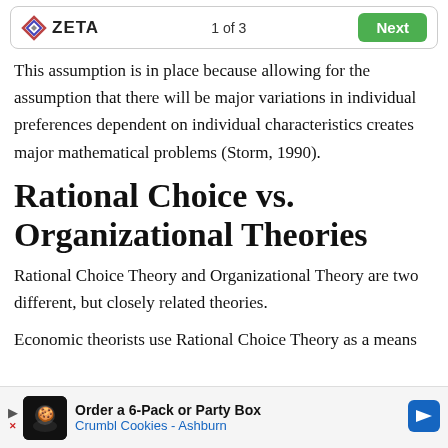ZETA  1 of 3  Next
This assumption is in place because allowing for the assumption that there will be major variations in individual preferences dependent on individual characteristics creates major mathematical problems (Storm, 1990).
Rational Choice vs. Organizational Theories
Rational Choice Theory and Organizational Theory are two different, but closely related theories.
Economic theorists use Rational Choice Theory as a means of...
[Figure (screenshot): Advertisement banner for Crumbl Cookies - Order a 6-Pack or Party Box, Crumbl Cookies - Ashburn]